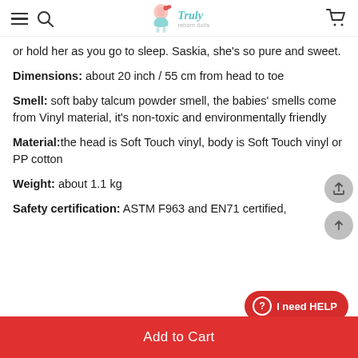Truly reborn dolls
or hold her as you go to sleep. Saskia, she's so pure and sweet.
Dimensions: about 20 inch / 55 cm from head to toe
Smell: soft baby talcum powder smell, the babies' smells come from Vinyl material, it's non-toxic and environmentally friendly
Material: the head is Soft Touch vinyl, body is Soft Touch vinyl or PP cotton
Weight: about 1.1 kg
Safety certification: ASTM F963 and EN71 certified,
Add to Cart